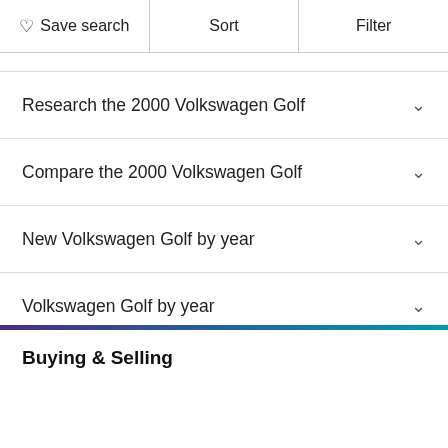Save search | Sort | Filter
Research the 2000 Volkswagen Golf
Compare the 2000 Volkswagen Golf
New Volkswagen Golf by year
Volkswagen Golf by year
Certified Pre-Owned Volkswagen Golf by year
Buying & Selling